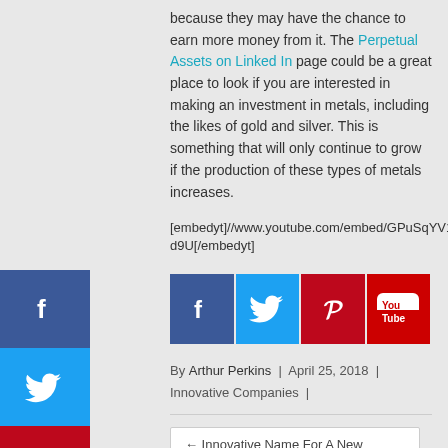because they may have the chance to earn more money from it. The Perpetual Assets on Linked In page could be a great place to look if you are interested in making an investment in metals, including the likes of gold and silver. This is something that will only continue to grow if the production of these types of metals increases.
[embedyt]//www.youtube.com/embed/GPuSqYV1d9U[/embedyt]
[Figure (infographic): Social share buttons: Facebook (blue), Twitter (cyan), Pinterest (red), YouTube (red)]
By Arthur Perkins  |  April 25, 2018  |  Innovative Companies  |
← Innovative Name For A New Company
Stem Cell Innovations Inc Company →